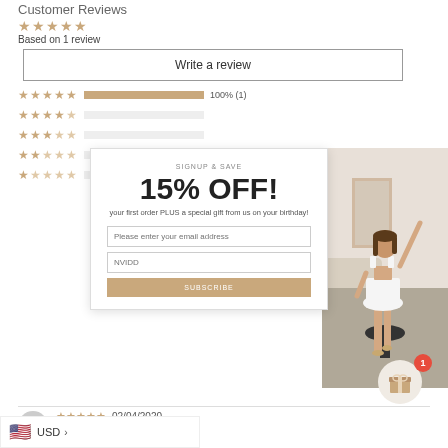Customer Reviews
Based on 1 review
Write a review
[Figure (infographic): Star rating bars showing 5-star to 1-star distribution with 100% (1) at 5 stars]
[Figure (infographic): Signup popup overlay: SIGNUP & SAVE / 15% OFF! / your first order PLUS a special gift from us on your birthday! / email input / name input / subscribe button]
[Figure (photo): Woman in white cut-out mini dress posing in a stylish room]
02/04/2020
Verified Marita Gribble
Thank you Xenia
of the Khaleesi style dress and it is perfect! fabulous service of the Team at Xenia, who are fast to respond to queries, ship orders, and lalways very pleasant to deal with.
USD >